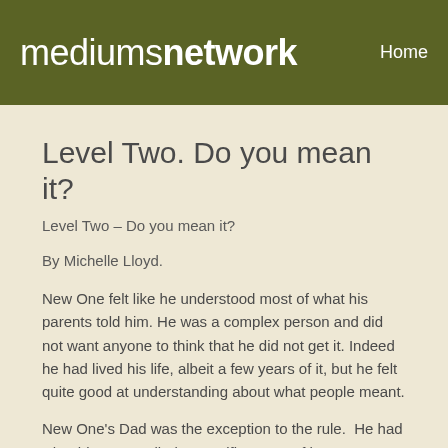mediumsnetwork  Home
Level Two. Do you mean it?
Level Two – Do you mean it?
By Michelle Lloyd.
New One felt like he understood most of what his parents told him. He was a complex person and did not want anyone to think that he did not get it. Indeed he had lived his life, albeit a few years of it, but he felt quite good at understanding about what people meant.
New One's Dad was the exception to the rule.  He had what his Mum called a specific sense of humour.  Sometimes New One thought he meant one thing but actually he meant something else entirely.
It could be odd trying to guess at his Dad's meaning and it was something that New One decided enough was enough.